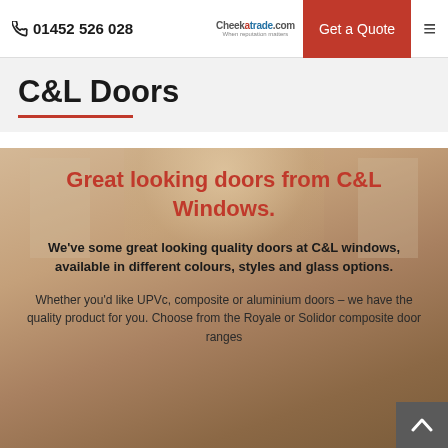📞 01452 526 028 | Checkatrade.com | Get a Quote
C&L Doors
[Figure (photo): Blurred interior room photo showing large windows and elegant decor, used as hero background image]
Great looking doors from C&L Windows.
We've some great looking quality doors at C&L windows, available in different colours, styles and glass options.
Whether you'd like UPVc, composite or aluminium doors – we have the quality product for you. Choose from the Royale or Solidor composite door ranges